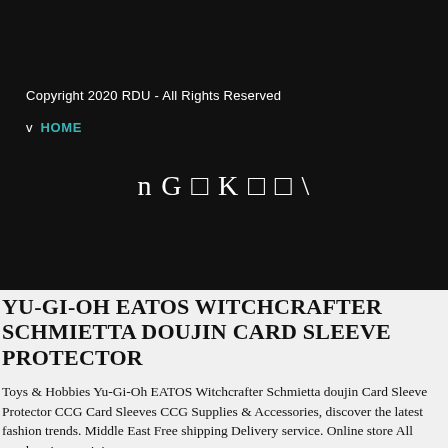Copyright 2020 RDU - All Rights Reserved
v  HOME
[Figure (logo): Logo text in white serif font on dark background: n G □ K □ □ \]
YU-GI-OH EATOS WITCHCRAFTER SCHMIETTA DOUJIN CARD SLEEVE PROTECTOR
Toys & Hobbies Yu-Gi-Oh EATOS Witchcrafter Schmietta doujin Card Sleeve Protector CCG Card Sleeves CCG Supplies & Accessories, discover the latest fashion trends. Middle East Free shipping Delivery service. Online store All goods enjoy a minimum